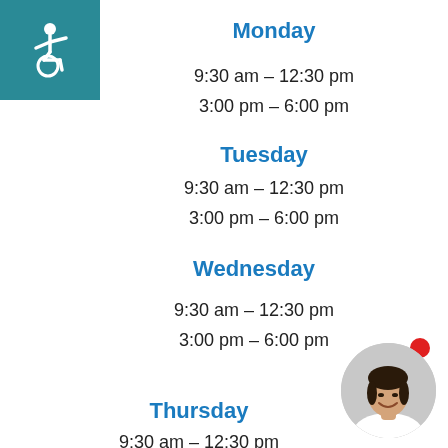[Figure (illustration): Accessibility wheelchair icon in white on teal/dark cyan square background, top-left corner]
Monday
9:30 am – 12:30 pm
3:00 pm – 6:00 pm
Tuesday
9:30 am – 12:30 pm
3:00 pm – 6:00 pm
Wednesday
9:30 am – 12:30 pm
3:00 pm – 6:00 pm
Thursday
9:30 am – 12:30 pm
[Figure (photo): Circular portrait photo of a smiling woman in white medical attire with dark hair, with a red dot notification badge in the top-right of the circle, positioned bottom-right of page]